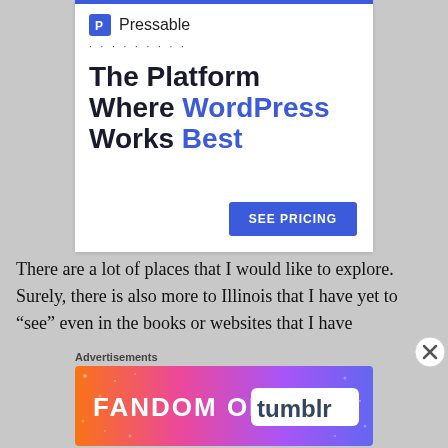[Figure (advertisement): Pressable hosting ad: logo with blue P icon, dotted line, headline 'The Platform Where WordPress Works Best', blue SEE PRICING button]
There are a lot of places that I would like to explore. Surely, there is also more to Illinois that I have yet to “see” even in the books or websites that I have
Advertisements
[Figure (advertisement): Fandom on Tumblr advertisement banner with colorful gradient background (orange, pink, purple) and white text 'FANDOM ON tumblr']